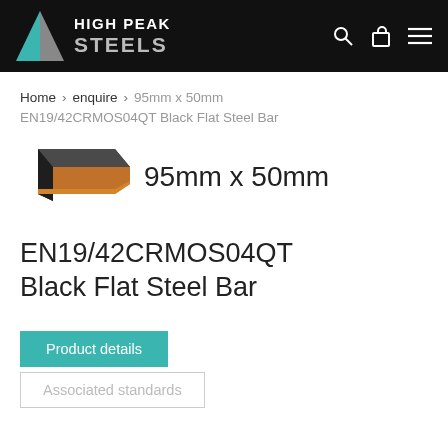HIGH PEAK STEELS
Home > enquire > 95mm x 50mm EN19/42CRMOS04QT Black Flat Steel Bar
[Figure (photo): Illustration of a flat steel bar, dark grey/black color with orange-brown ends, viewed at an angle]
95mm x 50mm
EN19/42CRMOS04QT Black Flat Steel Bar
Product details
Associated standards